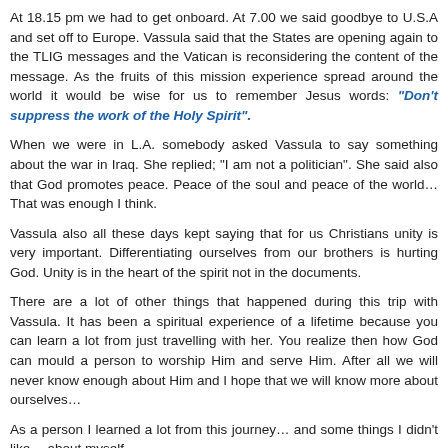At 18.15 pm we had to get onboard. At 7.00 we said goodbye to U.S.A and set off to Europe. Vassula said that the States are opening again to the TLIG messages and the Vatican is reconsidering the content of the message. As the fruits of this mission experience spread around the world it would be wise for us to remember Jesus words: "Don't suppress the work of the Holy Spirit".
When we were in L.A. somebody asked Vassula to say something about the war in Iraq. She replied; "I am not a politician". She said also that God promotes peace. Peace of the soul and peace of the world... That was enough I think.
Vassula also all these days kept saying that for us Christians unity is very important. Differentiating ourselves from our brothers is hurting God. Unity is in the heart of the spirit not in the documents.
There are a lot of other things that happened during this trip with Vassula. It has been a spiritual experience of a lifetime because you can learn a lot from just travelling with her. You realize then how God can mould a person to worship Him and serve Him. After all we will never know enough about Him and I hope that we will know more about ourselves...
As a person I learned a lot from this journey... and some things I didn't like... about myself...
For now let's thank Our Holy Trinity for His exquisite work on the Hymn of Love and our loved TLIG family around the world.
Praised by Our Lord, for ever and ever. Amen.